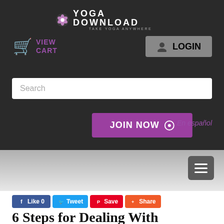YOGA DOWNLOAD — TAKE YOGA ANYWHERE
[Figure (screenshot): Yoga Download website header with logo, cart link, login button, search bar, join now button, en español link, hamburger menu, social share buttons, and partial page title]
6 Steps for Dealing With